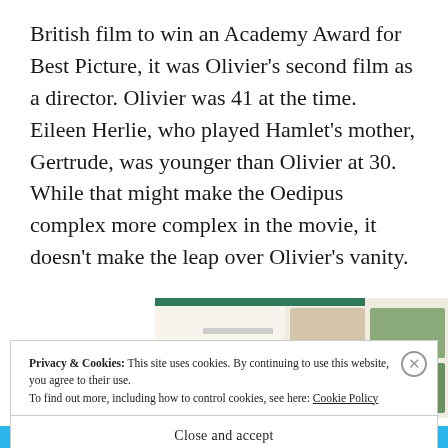British film to win an Academy Award for Best Picture, it was Olivier's second film as a director. Olivier was 41 at the time. Eileen Herlie, who played Hamlet's mother, Gertrude, was younger than Olivier at 30. While that might make the Oedipus complex more complex in the movie, it doesn't make the leap over Olivier's vanity.
[Figure (photo): Partial advertisement image showing food photographs and a green bar at top, partially obscured by cookie consent banner]
Privacy & Cookies: This site uses cookies. By continuing to use this website, you agree to their use.
To find out more, including how to control cookies, see here: Cookie Policy
Close and accept